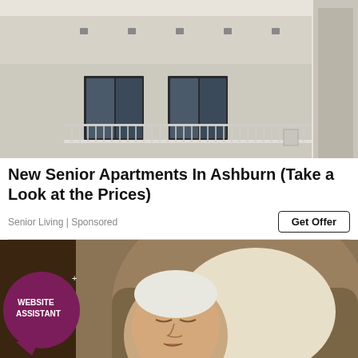[Figure (photo): Exterior photo of a modern apartment building with balconies and metal railings, white/beige facade]
New Senior Apartments In Ashburn (Take a Look at the Prices)
Senior Living | Sponsored
Get Offer
[Figure (photo): Elderly man sleeping/resting in a chair, with Website Assistant logo badge overlay in bottom-left and scroll-up button in bottom-right]